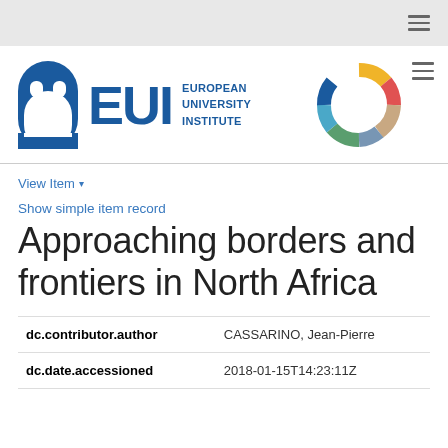[Figure (logo): European University Institute (EUI) logo with arch icon, EUI text, institute name text, and colorful arc/donut graphic]
View Item ▾
Show simple item record
Approaching borders and frontiers in North Africa
| dc.contributor.author | CASSARINO, Jean-Pierre |
| dc.date.accessioned | 2018-01-15T14:23:11Z |